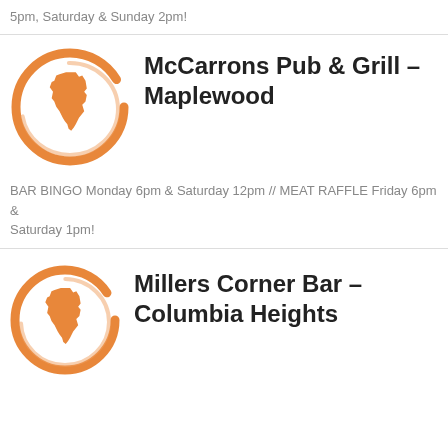5pm, Saturday & Sunday 2pm!
[Figure (logo): Orange Minnesota state silhouette inside an orange brushstroke circle logo]
McCarrons Pub & Grill – Maplewood
BAR BINGO Monday 6pm & Saturday 12pm // MEAT RAFFLE Friday 6pm & Saturday 1pm!
[Figure (logo): Orange Minnesota state silhouette inside an orange brushstroke circle logo (partial, bottom cut off)]
Millers Corner Bar – Columbia Heights